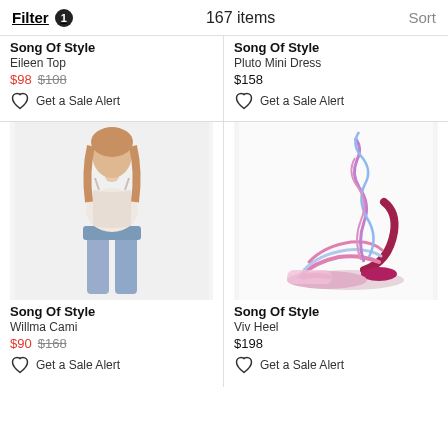Filter 1   167 items   Sort
Song Of Style
Eileen Top
$98 $108
Get a Sale Alert
Song Of Style
Pluto Mini Dress
$158
Get a Sale Alert
[Figure (photo): Woman wearing white cami top with light blue jeans]
Song Of Style
Willma Cami
$90 $168
Get a Sale Alert
[Figure (photo): Pink and blue strappy lace-up high heel sandal]
Song Of Style
Viv Heel
$198
Get a Sale Alert